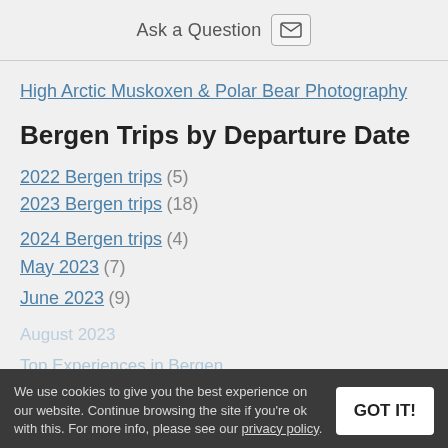Ask a Question
High Arctic Muskoxen & Polar Bear Photography
Bergen Trips by Departure Date
2022 Bergen trips (5)
2023 Bergen trips (18)
2024 Bergen trips (4)
May 2023 (7)
June 2023 (9)
We use cookies to give you the best experience on our website. Continue browsing the site if you're ok with this. For more info, please see our privacy policy.